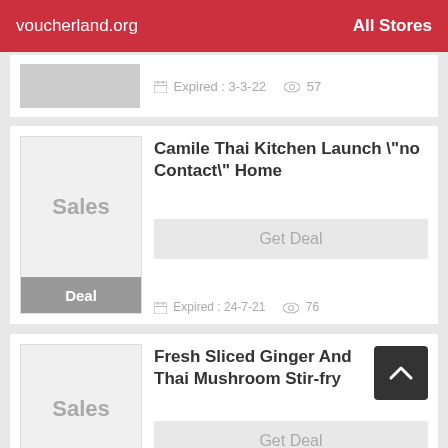voucherland.org  All Stores
Expired : 3-3-22   57
Camile Thai Kitchen Launch "no Contact" Home
Get Deal
Expired : 24-7-21   76
Fresh Sliced Ginger And Thai Mushroom Stir-fry
Get Deal
Expired : 2-7-21   43